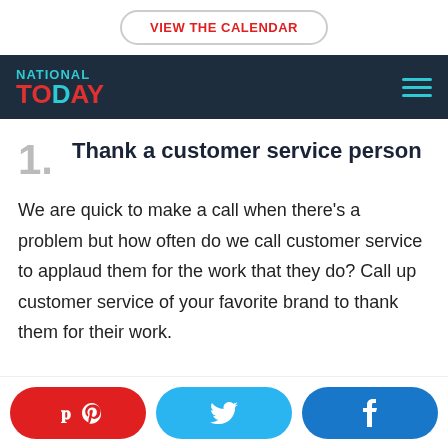VIEW THE CALENDAR
[Figure (logo): National Today logo and navigation bar with hamburger menu]
1. Thank a customer service person
We are quick to make a call when there's a problem but how often do we call customer service to applaud them for the work that they do? Call up customer service of your favorite brand to thank them for their work.
Pinterest, Twitter, Facebook share buttons